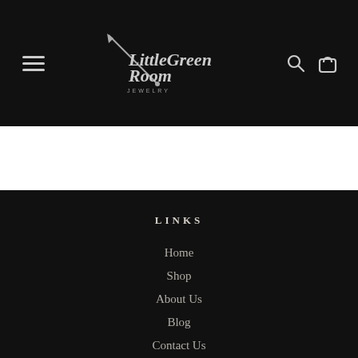[Figure (logo): LittleGreenRoom Jewelry logo with decorative script text and arrow/paintbrush graphic on black header background]
LINKS
Home
Shop
About Us
Blog
Contact Us